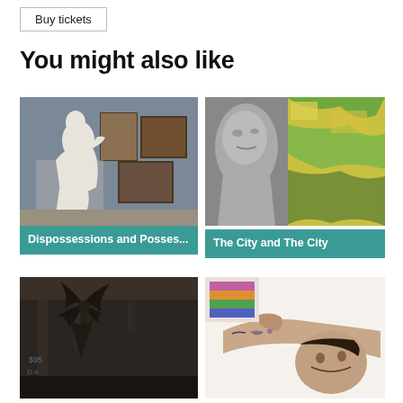Buy tickets
You might also like
[Figure (photo): White marble sculpture of a seated female figure in a museum gallery with paintings on the wall behind]
Dispossessions and Posses...
[Figure (photo): Close-up black and white photo of a sculptural head next to a colorful painting]
The City and The City
[Figure (photo): Dark interior with animal antlers mounted in a rustic space with graffiti on wall]
[Figure (photo): Tattooed man lying down looking at camera]